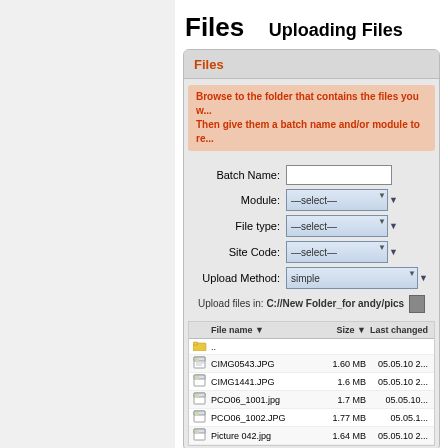Files
Uploading Files
[Figure (screenshot): A web application interface showing a file upload panel. The panel has a 'Files' tab label in orange/red, instruction text in orange-red saying to browse to folder and give batch name/module. Below are form fields: Batch Name (text input), Module (select dropdown showing '--select--'), File type (select showing '--select--'), Site Code (select showing '--select--'), Upload Method (select showing 'simple'). Below that is a path 'Upload files in: C://New Folder_for andy/pics' with a browse button. A file listing table shows columns: File name, Size, Last changed, with rows: '..' (folder), CIMG0543.JPG (1.60 MB, 05.05.10 2...), CIMG1441.JPG (1.6 MB, 05.05.10 2...), PCO06_1001.jpg (1.7 MB, 05.05.10...), PCO06_1002.JPG (1.77 MB, 05.05.1...), Picture 042.jpg (1.64 MB, 05.05.10 2...)]